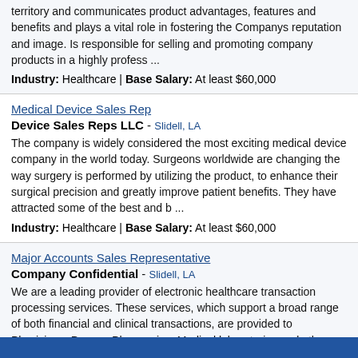territory and communicates product advantages, features and benefits and plays a vital role in fostering the Companys reputation and image. Is responsible for selling and promoting company products in a highly profess ...
Industry: Healthcare | Base Salary: At least $60,000
Medical Device Sales Rep
Device Sales Reps LLC - Slidell, LA
The company is widely considered the most exciting medical device company in the world today. Surgeons worldwide are changing the way surgery is performed by utilizing the product, to enhance their surgical precision and greatly improve patient benefits. They have attracted some of the best and b ...
Industry: Healthcare | Base Salary: At least $60,000
Major Accounts Sales Representative
Company Confidential - Slidell, LA
We are a leading provider of electronic healthcare transaction processing services. These services, which support a broad range of both financial and clinical transactions, are provided to Physicians, Payers, Pharmacies, Medical laboratories and other healthcare providers and suppliers. We are lo ...
Industry: Healthcare | Base Salary: At least $60,000